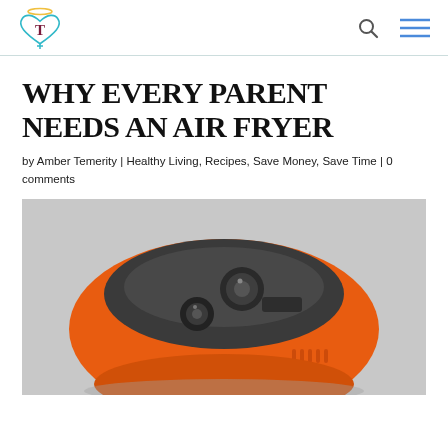Temerity logo, search icon, menu icon
WHY EVERY PARENT NEEDS AN AIR FRYER
by Amber Temerity | Healthy Living, Recipes, Save Money, Save Time | 0 comments
[Figure (photo): Close-up photo of an orange air fryer from above, showing control knobs on a gray background]